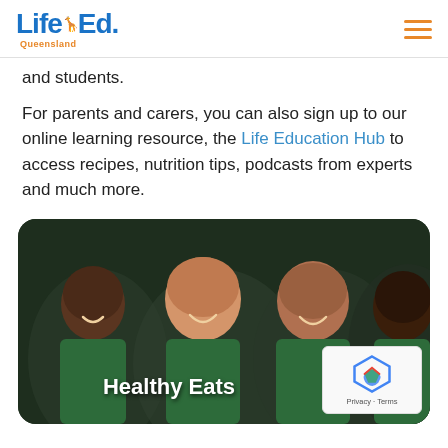Life Ed. Queensland
and students.
For parents and carers, you can also sign up to our online learning resource, the Life Education Hub to access recipes, nutrition tips, podcasts from experts and much more.
[Figure (photo): Four smiling school children wearing green uniforms, with the text 'Healthy Eats' overlaid at the bottom. A reCAPTCHA badge appears at the bottom right.]